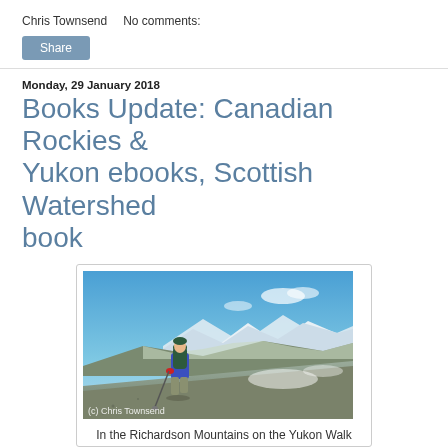Chris Townsend    No comments:
Share
Monday, 29 January 2018
Books Update: Canadian Rockies & Yukon ebooks, Scottish Watershed book
[Figure (photo): A hiker with a large backpack and trekking pole walking on a rocky slope with snow-capped mountains in the background under a blue sky. Caption reads '(c) Chris Townsend' in the lower left corner.]
In the Richardson Mountains on the Yukon Walk